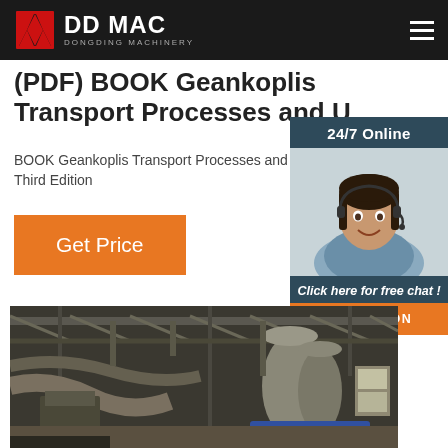DDMAC DONGDING MACHINERY
(PDF) BOOK Geankoplis Transport Processes and U...
BOOK Geankoplis Transport Processes and Operations, Third Edition
Get Price
[Figure (photo): Customer service representative with headset, 24/7 Online chat widget with QUOTATION button]
[Figure (photo): Interior of an industrial factory/warehouse with machinery, silos, and equipment visible under a metal roof structure]